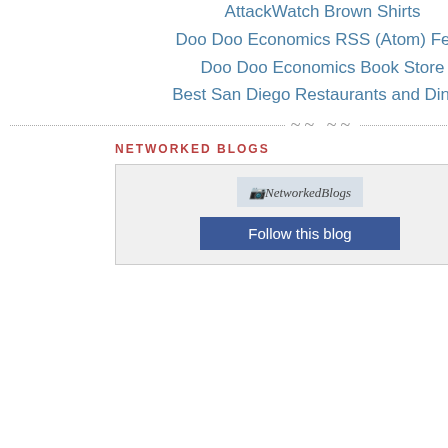AttackWatch Brown Shirts
Doo Doo Economics RSS (Atom) Feed
Doo Doo Economics Book Store
Best San Diego Restaurants and Dining
NETWORKED BLOGS
[Figure (screenshot): NetworkedBlogs widget with logo image and 'Follow this blog' button]
confidentiality of their p... may have histories of ab... threats of violence. They... smuggled. HHS cannot ... children that could comp...
| State | Unaccompanied C... |
| --- | --- |
| Alabama |  |
| Alaska |  |
| Arizona |  |
| Arkansas |  |
| California |  |
| Colorado |  |
| Connecticut |  |
| Delaware |  |
| District of Columbia |  |
| Florida |  |